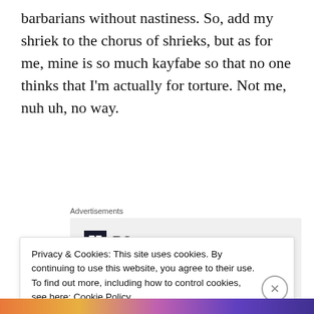barbarians without nastiness. So, add my shriek to the chorus of shrieks, but as for me, mine is so much kayfabe so that no one thinks that I'm actually for torture. Not me, nuh uh, no way.
[Figure (screenshot): Advertisement box with P2 logo and tagline 'Getting your team on the same page is easy. And free.' on a light gray background, labeled 'Advertisements' above.]
Privacy & Cookies: This site uses cookies. By continuing to use this website, you agree to their use.
To find out more, including how to control cookies, see here: Cookie Policy
Close and accept